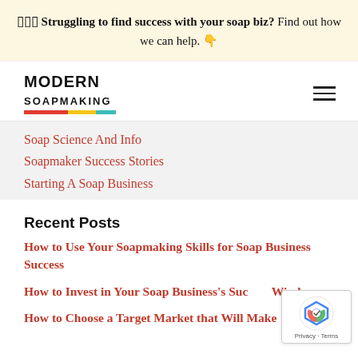🟥🟧🟨 Struggling to find success with your soap biz? Find out how we can help. 👇
[Figure (logo): Modern Soapmaking logo with colored bar (red, yellow, teal)]
Soap Science And Info
Soapmaker Success Stories
Starting A Soap Business
Recent Posts
How to Use Your Soapmaking Skills for Soap Business Success
How to Invest in Your Soap Business's Success Wisely
How to Choose a Target Market that Will Make